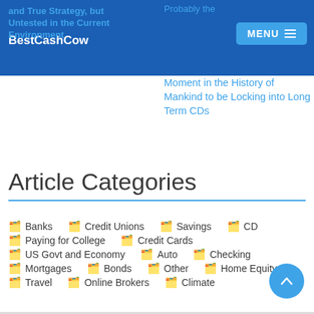BestCashCow
and True Strategy, but Untested in the Current Environment
Probably the Moment in the History of Mankind to be Locking into Long Term CDs
Article Categories
Banks
Credit Unions
Savings
CD
Paying for College
Credit Cards
US Govt and Economy
Auto
Checking
Mortgages
Bonds
Other
Home Equity
Travel
Online Brokers
Climate